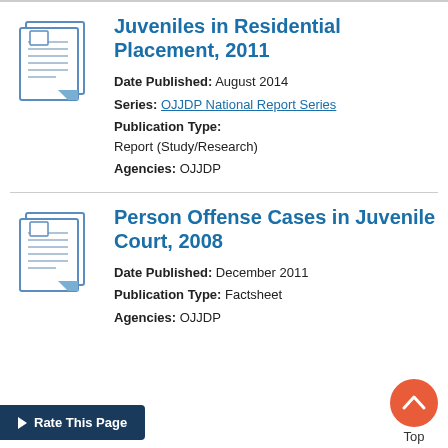Juveniles in Residential Placement, 2011
Date Published: August 2014
Series: OJJDP National Report Series
Publication Type: Report (Study/Research)
Agencies: OJJDP
Person Offense Cases in Juvenile Court, 2008
Date Published: December 2011
Publication Type: Factsheet
Agencies: OJJDP